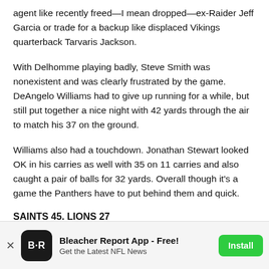agent like recently freed—I mean dropped—ex-Raider Jeff Garcia or trade for a backup like displaced Vikings quarterback Tarvaris Jackson.
With Delhomme playing badly, Steve Smith was nonexistent and was clearly frustrated by the game. DeAngelo Williams had to give up running for a while, but still put together a nice night with 42 yards through the air to match his 37 on the ground.
Williams also had a touchdown. Jonathan Stewart looked OK in his carries as well with 35 on 11 carries and also caught a pair of balls for 32 yards. Overall though it's a game the Panthers have to put behind them and quick.
SAINTS 45. LIONS 27
[Figure (other): Bleacher Report App advertisement banner with logo, title 'Bleacher Report App - Free!', subtitle 'Get the Latest NFL News', and Install button]